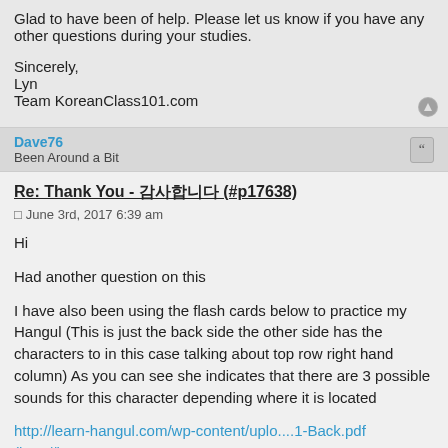Glad to have been of help. Please let us know if you have any other questions during your studies.
Sincerely,
Lyn
Team KoreanClass101.com
Dave76
Been Around a Bit
Re: Thank You - 감사합니다 (#p17638)
June 3rd, 2017 6:39 am
Hi
Had another question on this
I have also been using the flash cards below to practice my Hangul (This is just the back side the other side has the characters to in this case talking about top row right hand column) As you can see she indicates that there are 3 possible sounds for this character depending where it is located
http://learn-hangul.com/wp-content/uplo....1-Back.pdf (http://learn-